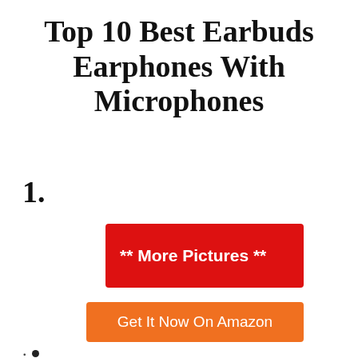Top 10 Best Earbuds Earphones With Microphones
1.
[Figure (other): Red button with text '** More Pictures **']
[Figure (other): Orange button with text 'Get It Now On Amazon']
.
•